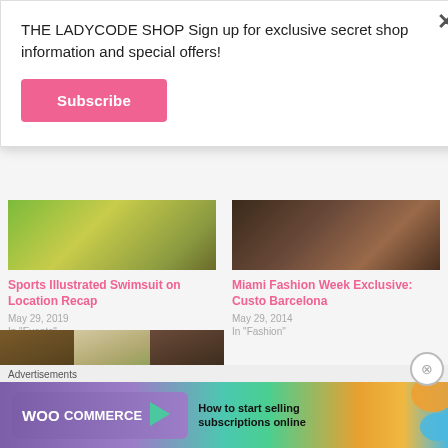THE LADYCODE SHOP Sign up for exclusive secret shop information and special offers!
Subscribe
[Figure (photo): Partial image of green outdoor scene (Sports Illustrated swimsuit location)]
Sports Illustrated Swimsuit on Location Recap
May 29, 2019
In "Events"
[Figure (photo): Partial dark indoor image (Miami Fashion Week Custo Barcelona)]
Miami Fashion Week Exclusive: Custo Barcelona
May 29, 2014
In "Fashion"
[Figure (photo): Three-panel photo strip of women in fashion outfits outdoors]
Advertisements
[Figure (screenshot): WooCommerce advertisement: How to start selling subscriptions online]